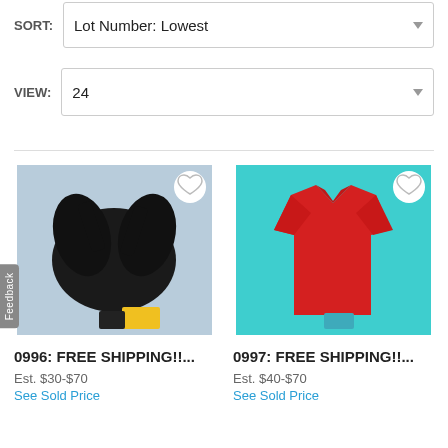SORT: Lot Number: Lowest
VIEW: 24
[Figure (photo): Product 0996: Black sports bra on light blue background with yellow brand tags]
0996: FREE SHIPPING!!...
Est. $30-$70
See Sold Price
[Figure (photo): Product 0997: Red short-sleeve shirt on teal background with brand tags]
0997: FREE SHIPPING!!...
Est. $40-$70
See Sold Price